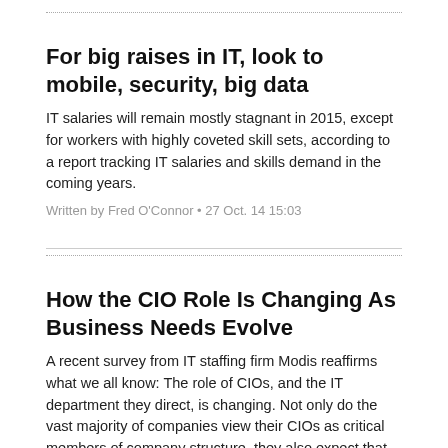For big raises in IT, look to mobile, security, big data
IT salaries will remain mostly stagnant in 2015, except for workers with highly coveted skill sets, according to a report tracking IT salaries and skills demand in the coming years.
Written by Fred O'Connor • 27 Oct. 14 15:03
How the CIO Role Is Changing As Business Needs Evolve
A recent survey from IT staffing firm Modis reaffirms what we all know: The role of CIOs, and the IT department they direct, is changing. Not only do the vast majority of companies view their CIOs as critical members of company structure, they also expect that role to grow in the future.
Written by Jen A. Miller • 07 Oct. 14 00:39